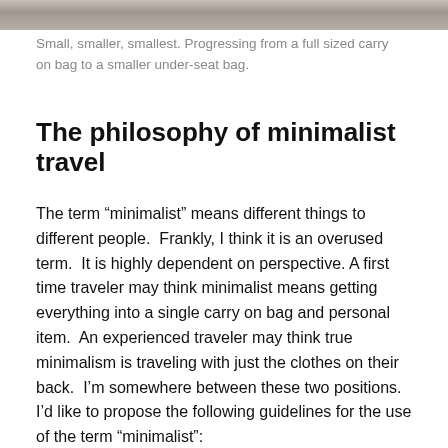[Figure (photo): Partial view of a textured stone or concrete surface, cropped at the top of the page.]
Small, smaller, smallest. Progressing from a full sized carry on bag to a smaller under-seat bag.
The philosophy of minimalist travel
The term “minimalist” means different things to different people.  Frankly, I think it is an overused term.  It is highly dependent on perspective. A first time traveler may think minimalist means getting everything into a single carry on bag and personal item.  An experienced traveler may think true minimalism is traveling with just the clothes on their back.  I’m somewhere between these two positions.  I’d like to propose the following guidelines for the use of the term “minimalist”: